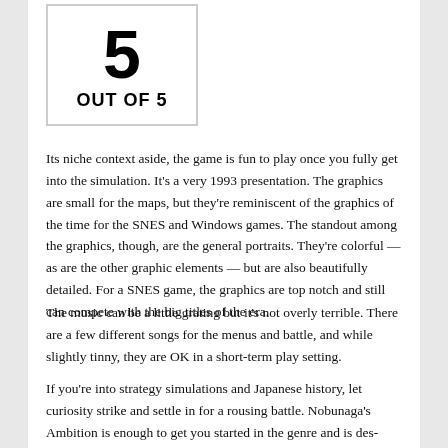[Figure (other): Score graphic showing '5 OUT OF 5' in bold black text inside a bordered box]
Its niche context aside, the game is fun to play once you fully get into the simulation. It's a very 1993 presentation. The graphics are small for the maps, but they're reminiscent of the graphics of the time for the SNES and Windows games. The standout among the graphics, though, are the general portraits. They're colorful — as are the other graphic elements — but are also beautifully detailed. For a SNES game, the graphics are top notch and still can compete with the big titles of the era.
The music can be a little grating but it's not overly terrible. There are a few different songs for the menus and battle, and while slightly tinny, they are OK in a short-term play setting.
If you're into strategy simulations and Japanese history, let curiosity strike and settle in for a rousing battle. Nobunaga's Ambition is enough to get you started in the genre and is des-